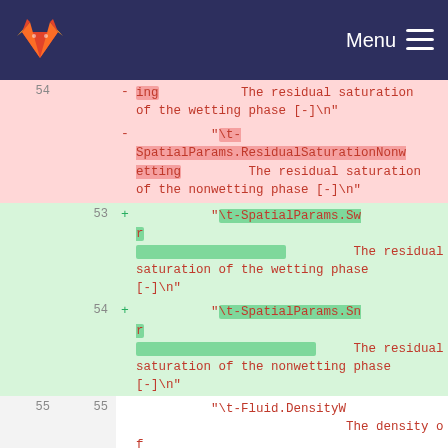GitLab Menu
| old | new | sign | code |
| --- | --- | --- | --- |
| 54 |  | - | ing        The residual saturation of the wetting phase [-]\n" |
| 54 |  | - | "\t-SpatialParams.ResidualSaturationNonwetting        The residual saturation of the nonwetting phase [-]\n" |
|  | 53 | + | "\t-SpatialParams.Swr        The residual saturation of the wetting phase [-]\n" |
|  | 54 | + | "\t-SpatialParams.Snr        The residual saturation of the nonwetting phase [-]\n" |
| 55 | 55 |  | "\t-Fluid.DensityW        The density of |